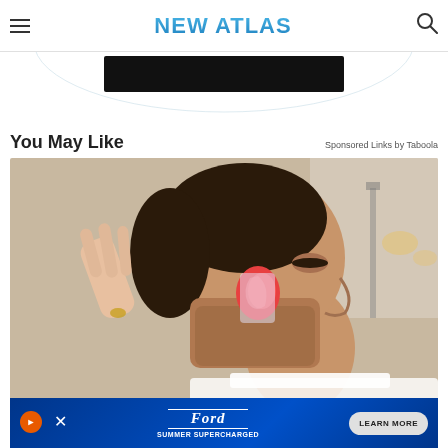NEW ATLAS
You May Like
Sponsored Links by Taboola
[Figure (photo): Man in profile view having a hearing aid or ear device fitted to his ear by another person's hand, ear glowing red. Outdoor blurred background.]
[Figure (infographic): Ford Summer Supercharged advertisement banner with Learn More button]